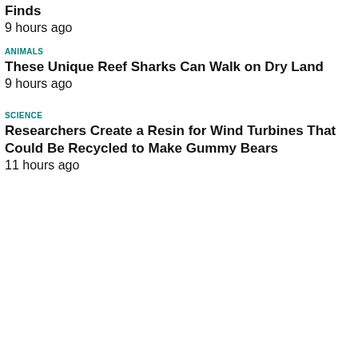Finds
9 hours ago
ANIMALS
These Unique Reef Sharks Can Walk on Dry Land
9 hours ago
SCIENCE
Researchers Create a Resin for Wind Turbines That Could Be Recycled to Make Gummy Bears
11 hours ago